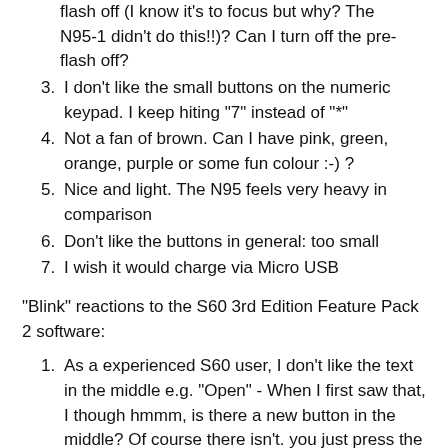flash off (I know it's to focus but why? The N95-1 didn't do this!!)? Can I turn off the pre-flash off?
3. I don't like the small buttons on the numeric keypad. I keep hiting "7" instead of "*"
4. Not a fan of brown. Can I have pink, green, orange, purple or some fun colour :-) ?
5. Nice and light. The N95 feels very heavy in comparison
6. Don't like the buttons in general: too small
7. I wish it would charge via Micro USB
"Blink" reactions to the S60 3rd Edition Feature Pack 2 software:
1. As a experienced S60 user, I don't like the text in the middle e.g. "Open" - When I first saw that, I though hmmm, is there a new button in the middle? Of course there isn't. you just press the dpad in the middle to select that operation
2. The next line (cut off at bottom)